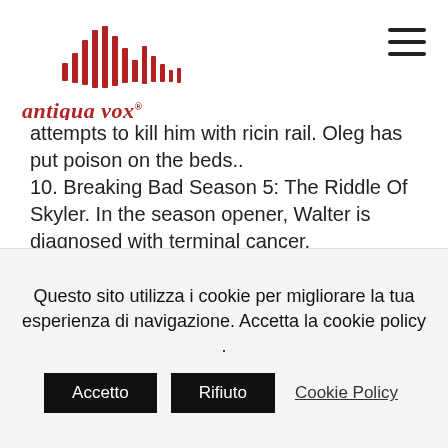[Figure (logo): Antiqua Vox logo with red sound wave bars and italic red serif text 'antiqua vox ®']
attempts to kill him with ricin rail. Oleg has put poison on the beds.. 10. Breaking Bad Season 5: The Riddle Of Skyler. In the season opener, Walter is diagnosed with terminal cancer. Breaking Bad, Season 5, Episode 2 – Meet Gus Fring – IMDb. Season 5 – Episode 11 – Black Mass. Breaking Bad, Season 5, Episode 11 – Red Barn. . Breaking Bad, Season 6, Episode 5 –
Questo sito utilizza i cookie per migliorare la tua esperienza di navigazione. Accetta la cookie policy .
Accetto   Rifiuto   Cookie Policy